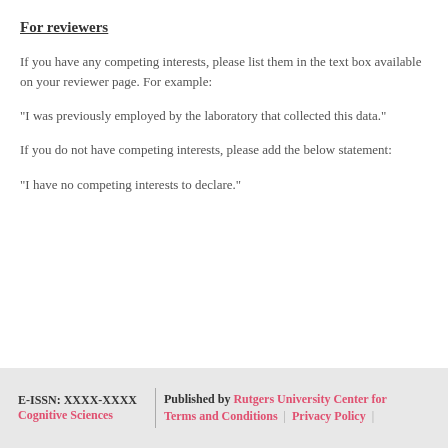For reviewers
If you have any competing interests, please list them in the text box available on your reviewer page. For example:
"I was previously employed by the laboratory that collected this data."
If you do not have competing interests, please add the below statement:
"I have no competing interests to declare."
E-ISSN: XXXX-XXXX | Published by Rutgers University Center for Cognitive Sciences | Terms and Conditions | Privacy Policy